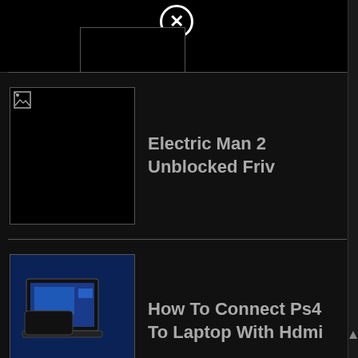[Figure (screenshot): Close/cancel button (circle with X) at top center]
[Figure (screenshot): Top bar with partially visible thumbnail]
Electric Man 2 Unblocked Friv
How To Connect Ps4 To Laptop With Hdmi
Mini Royale 2 Hack Oyna
[Figure (screenshot): Close/cancel button (circle with X) at bottom center]
[Figure (screenshot): Scrollbar with up arrow on the right side]